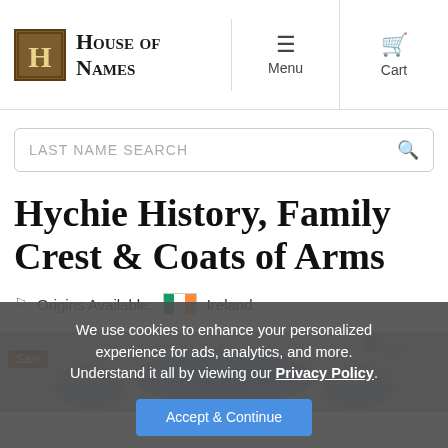House of Names — Menu | Cart
LAST NAME SEARCH
Hychie History, Family Crest & Coats of Arms
Origins Available: Ireland
[Figure (screenshot): Coat of arms illustration partially visible behind cookie banner]
We use cookies to enhance your personalized experience for ads, analytics, and more. Understand it all by viewing our Privacy Policy.
Accept & Continue